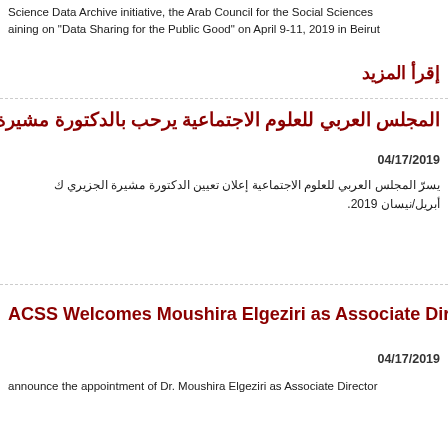Science Data Archive initiative, the Arab Council for the Social Sciences aining on "Data Sharing for the Public Good" on April 9-11, 2019 in Beirut
إقرأ المزيد
المجلس العربي للعلوم الاجتماعية يرحب بالدكتورة مشيرة الج
04/17/2019
يسرّ المجلس العربي للعلوم الاجتماعية إعلان تعيين الدكتورة مشيرة الجزيري ك أبريل/نيسان 2019.
ACSS Welcomes Moushira Elgeziri as Associate Director
04/17/2019
announce the appointment of Dr. Moushira Elgeziri as Associate Director